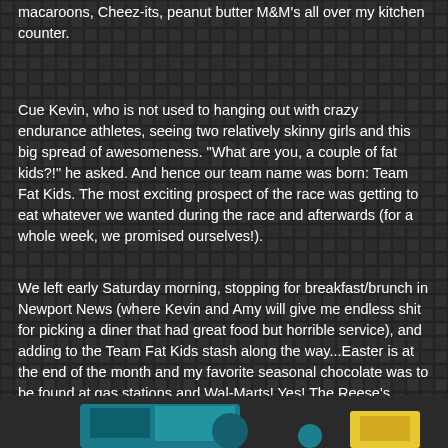macaroons, Cheez-its, peanut butter M&M's all over my kitchen counter.
Cue Kevin, who is not used to hanging out with crazy endurance athletes, seeing two relatively skinny girls and this big spread of awesomeness. "What are you, a couple of fat kids?!" he asked. And hence our team name was born: Team Fat Kids. The most exciting prospect of the race was getting to eat whatever we wanted during the race and afterwards (for a whole week, we promised ourselves!).
We left early Saturday morning, stopping for breakfast/brunch in Newport News (where Kevin and Amy will give me endless shit for picking a diner that had great food but horrible service), and adding to the Team Fat Kids stash along the way...Easter is at the end of the month and my favorite seasonal chocolate was to be found at gas stations and Wal-Marts! Yes! The Reese's peanut butter Easter eggs! More peanut butter than a Reese's PB cup!
[Figure (photo): Partial image visible at the bottom of the page showing colorful elements, partially cropped.]